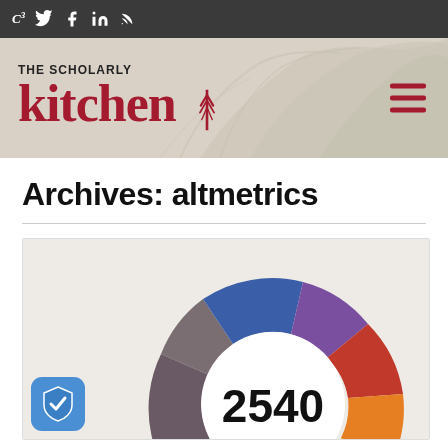C³ [twitter] [facebook] [linkedin] [rss]
[Figure (logo): The Scholarly Kitchen logo with whisk icon and hamburger menu]
Archives: altmetrics
[Figure (donut-chart): Altmetrics donut badge showing score 2540 with multicolored arc segments in blue, purple, red, orange, yellow, green, teal, and gray colors]